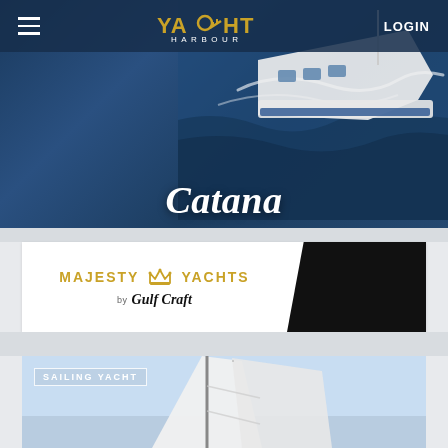[Figure (screenshot): Yacht Harbour website navigation bar with hamburger menu, gold and white logo, and LOGIN button on dark navy background]
[Figure (photo): Aerial view of a white yacht sailing on dark blue ocean water, hero banner background]
Catana
[Figure (logo): Majesty Yachts by Gulf Craft advertisement banner with gold crown logo on white background and dark right panel]
[Figure (photo): Sailing yacht with large white sails against blue sky, card showing SAILING YACHT tag]